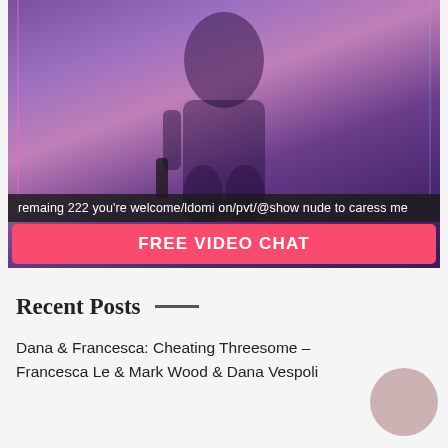[Figure (photo): Woman in dark lingerie against purple/pink lit background, holding a black object]
remaing 222 you're welcome/ldomi on/pvt/@show nude to caress me
FREE VIDEO CHAT
Recent Posts
Dana & Francesca: Cheating Threesome – Francesca Le & Mark Wood & Dana Vespoli